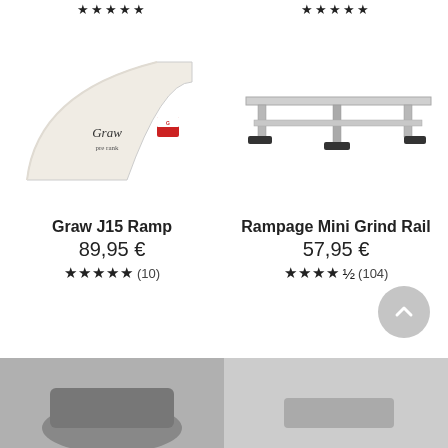★★★★★ (rating top left, partially visible)
★★★★★ (rating top right, partially visible)
[Figure (photo): Graw J15 Ramp - a white curved skateboard ramp with Graw branding and a small logo sticker]
[Figure (photo): Rampage Mini Grind Rail - a silver metal grind rail with black rubber feet on both ends]
Graw J15 Ramp
89,95 €
★★★★★ (10)
Rampage Mini Grind Rail
57,95 €
★★★★½ (104)
[Figure (photo): Bottom left product image, partially visible, appears to be a dark colored skateboard product]
[Figure (photo): Bottom right product image, partially visible, appears to be a skateboard product]